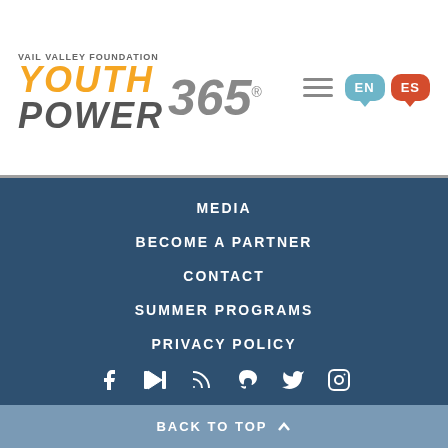[Figure (logo): Vail Valley Foundation Youth Power 365 logo with orange YOUTH, grey POWER, and stylized 365 text]
MEDIA
BECOME A PARTNER
CONTACT
SUMMER PROGRAMS
PRIVACY POLICY
[Figure (infographic): Language selector bubbles: EN (teal) and ES (red-orange)]
[Figure (infographic): Social media icons row: Facebook, YouTube, RSS, Snapchat, Twitter, Instagram]
BACK TO TOP